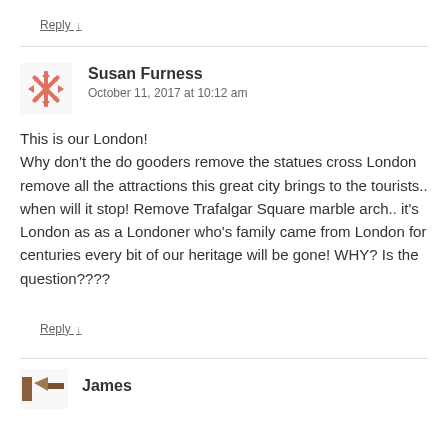Reply ↓
Susan Furness
October 11, 2017 at 10:12 am
This is our London!
Why don't the do gooders remove the statues cross London remove all the attractions this great city brings to the tourists.. when will it stop! Remove Trafalgar Square marble arch.. it's London as as a Londoner who's family came from London for centuries every bit of our heritage will be gone! WHY? Is the question????
Reply ↓
James